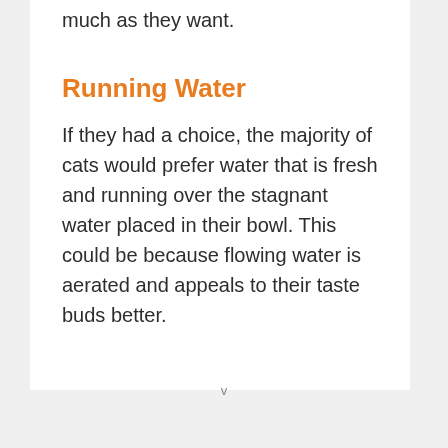much as they want.
Running Water
If they had a choice, the majority of cats would prefer water that is fresh and running over the stagnant water placed in their bowl. This could be because flowing water is aerated and appeals to their taste buds better.